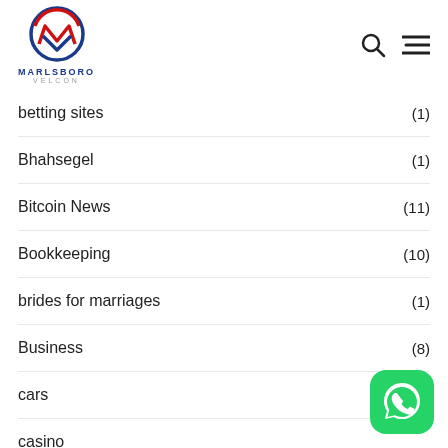[Figure (logo): Marlsboro Velcon logo with circular M emblem in red and blue, company name below]
betting sites (1)
Bhahsegel (1)
Bitcoin News (11)
Bookkeeping (10)
brides for marriages (1)
Business (8)
cars (4)
casino
chinese dating (1)
[Figure (illustration): WhatsApp green button icon in bottom right corner]